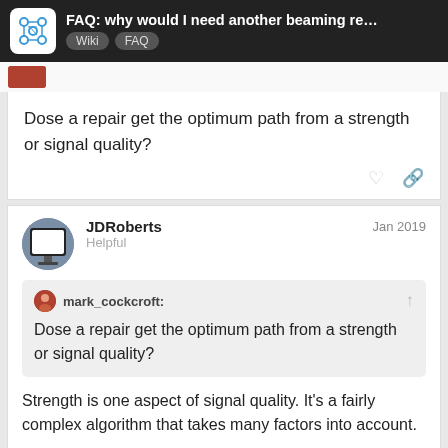FAQ: why would I need another beaming re... | Wiki | FAQ
Dose a repair get the optimum path from a strength or signal quality?
JDRoberts  Jan 2019
Helpful
mark_cockcroft:
Dose a repair get the optimum path from a strength or signal quality?
Strength is one aspect of signal quality. It's a fairly complex algorithm that takes many factors into account.
15 / 47